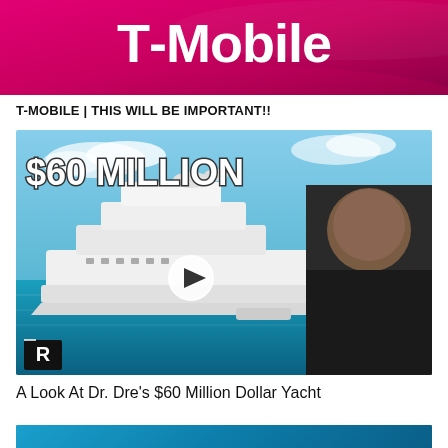[Figure (photo): T-Mobile advertisement banner with magenta/pink gradient background and T-Mobile logo in white text]
T-MOBILE | THIS WILL BE IMPORTANT!!
[Figure (screenshot): YouTube video thumbnail showing a large white luxury yacht on turquoise water with '$60 MILLION' text overlay in large white letters with dark outline, a man in black shirt on the right side, a play button circle in center, and a logo 'R' in bottom left corner. Caption reads 'A Look At Dr. Dre's $60 Million Dollar Yacht']
A Look At Dr. Dre's $60 Million Dollar Yacht
[Figure (photo): Partial view of another video thumbnail at bottom of page with blue/teal background]